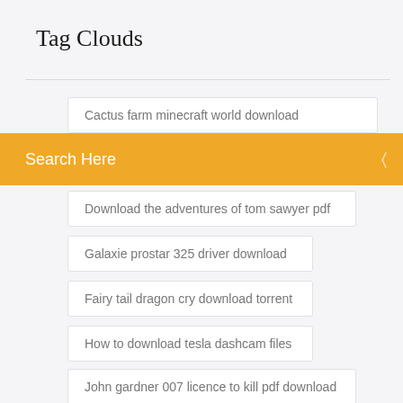Tag Clouds
Cactus farm minecraft world download
Search Here
Download the adventures of tom sawyer pdf
Galaxie prostar 325 driver download
Fairy tail dragon cry download torrent
How to download tesla dashcam files
John gardner 007 licence to kill pdf download